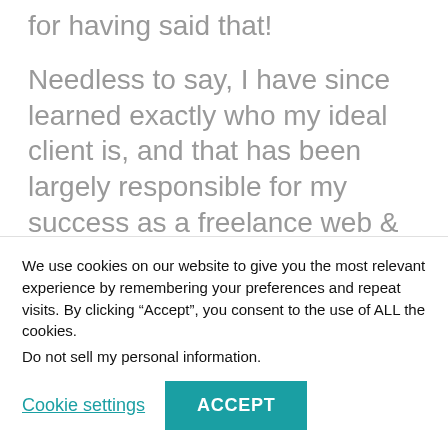for having said that!
Needless to say, I have since learned exactly who my ideal client is, and that has been largely responsible for my success as a freelance web & graphic designer.
Think about it. How can you possibly focus your marketing efforts to the masses? They all like different things, delivered in different ways. Some will resonate with your message and some will not. Some do not even want…
We use cookies on our website to give you the most relevant experience by remembering your preferences and repeat visits. By clicking “Accept”, you consent to the use of ALL the cookies.
Do not sell my personal information.
Cookie settings
ACCEPT